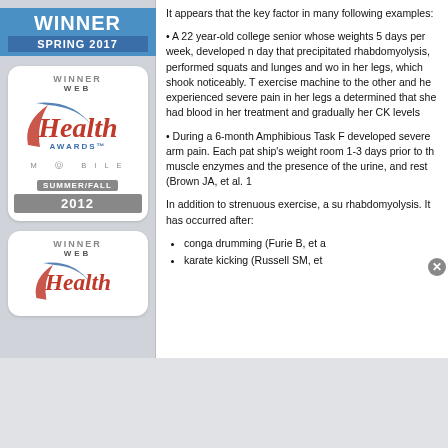[Figure (logo): Winner Spring 2017 banner badge in blue]
[Figure (logo): Web Health Awards Mobile Summer/Fall 2012 winner badge]
[Figure (logo): Web Health Awards winner badge (partial, bottom)]
It appears that the key factor in many following examples:
A 22 year-old college senior whose weights 5 days per week, developed n day that precipitated rhabdomyolysis, performed squats and lunges and wo in her legs, which shook noticeably. T exercise machine to the other and he experienced severe pain in her legs a determined that she had blood in her treatment and gradually her CK levels
During a 6-month Amphibious Task F developed severe arm pain. Each pat ship's weight room 1-3 days prior to th muscle enzymes and the presence of the urine, and rest (Brown JA, et al. 1
In addition to strenuous exercise, a su rhabdomyolysis. It has occurred after:
conga drumming (Furie B, et a
karate kicking (Russell SM, et
infolinks